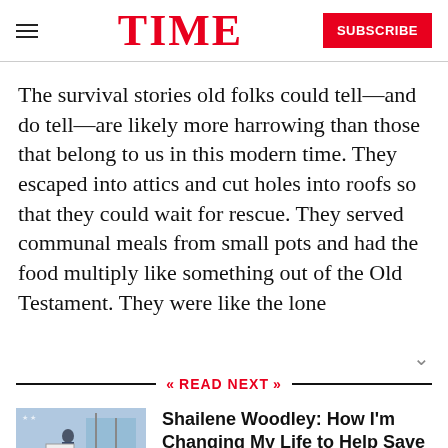TIME | SUBSCRIBE
The survival stories old folks could tell—and do tell—are likely more harrowing than those that belong to us in this modern time. They escaped into attics and cut holes into roofs so that they could wait for rescue. They served communal meals from small pots and had the food multiply like something out of the Old Testament. They were like the lone
READ NEXT
[Figure (photo): A person holding a sign near water, likely related to ocean conservation]
Shailene Woodley: How I'm Changing My Life to Help Save the Seas